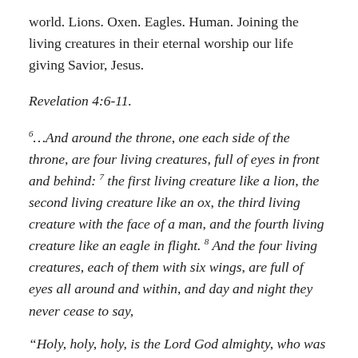world. Lions. Oxen. Eagles. Human. Joining the living creatures in their eternal worship our life giving Savior, Jesus.
Revelation 4:6-11.
6...And around the throne, one each side of the throne, are four living creatures, full of eyes in front and behind: 7 the first living creature like a lion, the second living creature like an ox, the third living creature with the face of a man, and the fourth living creature like an eagle in flight. 8 And the four living creatures, each of them with six wings, are full of eyes all around and within, and day and night they never cease to say,
“Holy, holy, holy, is the Lord God almighty, who was